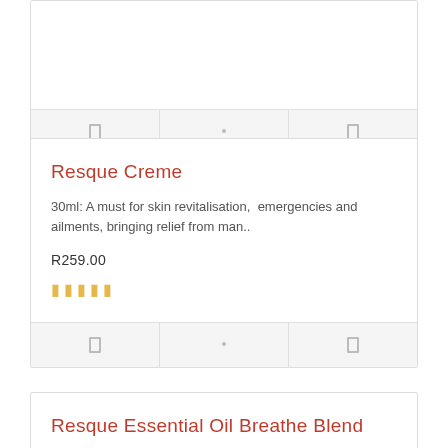[partial card actions row - top]
Resque Creme
30ml: A must for skin revitalisation, emergencies and ailments, bringing relief from man..
R259.00
★★★★★
[card actions row - middle]
Resque Essential Oil Breathe Blend
5ml: A unique blend of Eucalyptus, Peppermint and Camphor